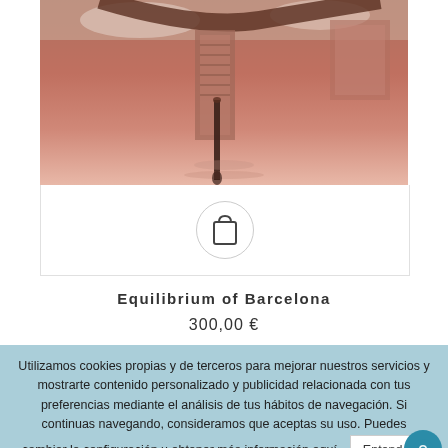[Figure (photo): Upside-down reflection photo of Barcelona buildings and street lamp on water surface with orange/reddish tones]
[Figure (illustration): Shopping bag icon inside a circular border]
Equilibrium of Barcelona
300,00 €
Utilizamos cookies propias y de terceros para mejorar nuestros servicios y mostrarte contenido personalizado y publicidad relacionada con tus preferencias mediante el análisis de tus hábitos de navegación. Si continuas navegando, consideramos que aceptas su uso. Puedes cambiar la configuración u obtener más información aquí.